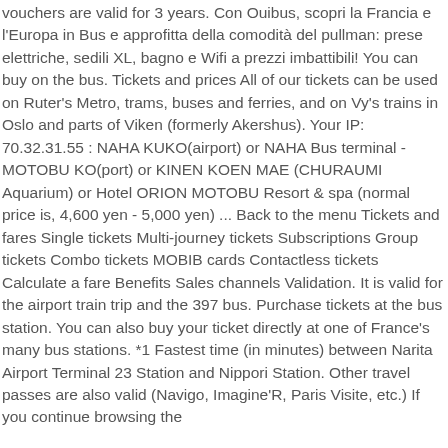vouchers are valid for 3 years. Con Ouibus, scopri la Francia e l'Europa in Bus e approfitta della comodità del pullman: prese elettriche, sedili XL, bagno e Wifi a prezzi imbattibili! You can buy on the bus. Tickets and prices All of our tickets can be used on Ruter's Metro, trams, buses and ferries, and on Vy's trains in Oslo and parts of Viken (formerly Akershus). Your IP: 70.32.31.55 : NAHA KUKO(airport) or NAHA Bus terminal - MOTOBU KO(port) or KINEN KOEN MAE (CHURAUMI Aquarium) or Hotel ORION MOTOBU Resort & spa (normal price is, 4,600 yen - 5,000 yen) ... Back to the menu Tickets and fares Single tickets Multi-journey tickets Subscriptions Group tickets Combo tickets MOBIB cards Contactless tickets Calculate a fare Benefits Sales channels Validation. It is valid for the airport train trip and the 397 bus. Purchase tickets at the bus station. You can also buy your ticket directly at one of France's many bus stations. *1 Fastest time (in minutes) between Narita Airport Terminal 23 Station and Nippori Station. Other travel passes are also valid (Navigo, Imagine'R, Paris Visite, etc.) If you continue browsing the